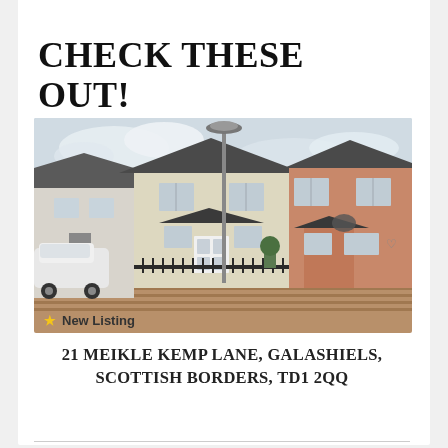CHECK THESE OUT!
[Figure (photo): Exterior photo of terraced houses in a residential development. Light coloured render and brick façades, dark roof tiles, white front doors, iron railings, a lamp post, and a white car parked on the left. New Listing badge with yellow star in lower left corner.]
⭐ New Listing
21 MEIKLE KEMP LANE, GALASHIELS, SCOTTISH BORDERS, TD1 2QQ